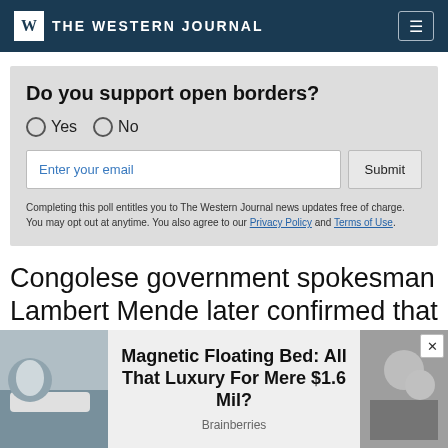THE WESTERN JOURNAL
Do you support open borders?
○ Yes  ○ No
Enter your email  Submit
Completing this poll entitles you to The Western Journal news updates free of charge. You may opt out at anytime. You also agree to our Privacy Policy and Terms of Use.
Congolese government spokesman Lambert Mende later confirmed that "the woman was found beheaded
Magnetic Floating Bed: All That Luxury For Mere $1.6 Mil?
Brainberries